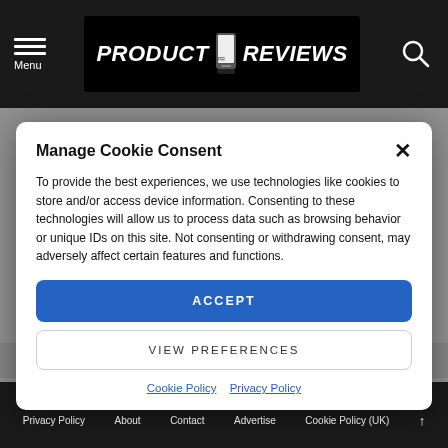Menu | PRODUCT REVIEWS
Manage Cookie Consent
To provide the best experiences, we use technologies like cookies to store and/or access device information. Consenting to these technologies will allow us to process data such as browsing behavior or unique IDs on this site. Not consenting or withdrawing consent, may adversely affect certain features and functions.
ACCEPT
VIEW PREFERENCES
Cookie Policy  Privacy Policy
the Dansway Group.
Privacy Policy   About   Contact   Advertise   Cookie Policy (UK)